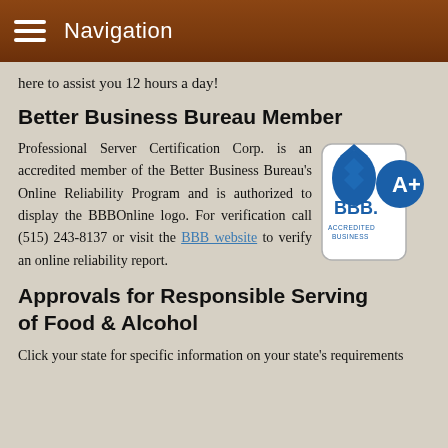Navigation
here to assist you 12 hours a day!
Better Business Bureau Member
Professional Server Certification Corp. is an accredited member of the Better Business Bureau's Online Reliability Program and is authorized to display the BBBOnline logo. For verification call (515) 243-8137 or visit the BBB website to verify an online reliability report.
[Figure (logo): BBB Accredited Business A+ rating logo]
Approvals for Responsible Serving of Food & Alcohol
Click your state for specific information on your state's requirements